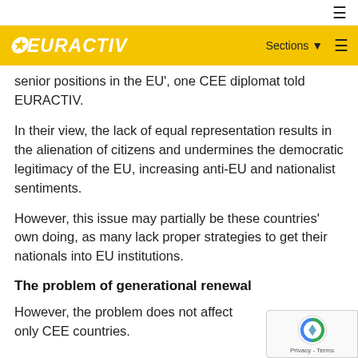≡
EURACTIV — Sections ≡
senior positions in the EU', one CEE diplomat told EURACTIV.
In their view, the lack of equal representation results in the alienation of citizens and undermines the democratic legitimacy of the EU, increasing anti-EU and nationalist sentiments.
However, this issue may partially be these countries' own doing, as many lack proper strategies to get their nationals into EU institutions.
The problem of generational renewal
However, the problem does not affect only CEE countries.